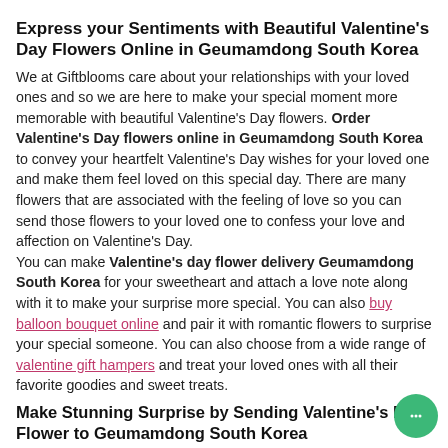Express your Sentiments with Beautiful Valentine's Day Flowers Online in Geumamdong South Korea
We at Giftblooms care about your relationships with your loved ones and so we are here to make your special moment more memorable with beautiful Valentine's Day flowers. Order Valentine's Day flowers online in Geumamdong South Korea to convey your heartfelt Valentine's Day wishes for your loved one and make them feel loved on this special day. There are many flowers that are associated with the feeling of love so you can send those flowers to your loved one to confess your love and affection on Valentine's Day. You can make Valentine's day flower delivery Geumamdong South Korea for your sweetheart and attach a love note along with it to make your surprise more special. You can also buy balloon bouquet online and pair it with romantic flowers to surprise your special someone. You can also choose from a wide range of valentine gift hampers and treat your loved ones with all their favorite goodies and sweet treats.
Make Stunning Surprise by Sending Valentine's Day Flower to Geumamdong South Korea
When talking about confessing feeling even a single rose can speak volumes so just think how much impact a stunning flower arrangement can make. Thus order romantic flower arrangements for Valentine's Day to make your lady love or superhero feel special on this special day of love. There are so many flowers to choose from so you can make special Valentine Flower Delivery in Geumamdong South Korea and let flowers convey all your love feelings to your special someone.